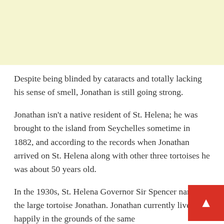[Figure (other): Light yellow banner/advertisement area at the top of the page]
Despite being blinded by cataracts and totally lacking his sense of smell, Jonathan is still going strong.
Jonathan isn't a native resident of St. Helena; he was brought to the island from Seychelles sometime in 1882, and according to the records when Jonathan arrived on St. Helena along with other three tortoises he was about 50 years old.
In the 1930s, St. Helena Governor Sir Spencer named the large tortoise Jonathan. Jonathan currently lives happily in the grounds of the same